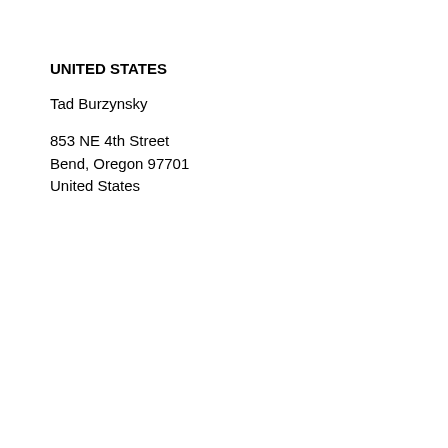UNITED STATES
Tad Burzynsky
853 NE 4th Street
Bend, Oregon 97701
United States